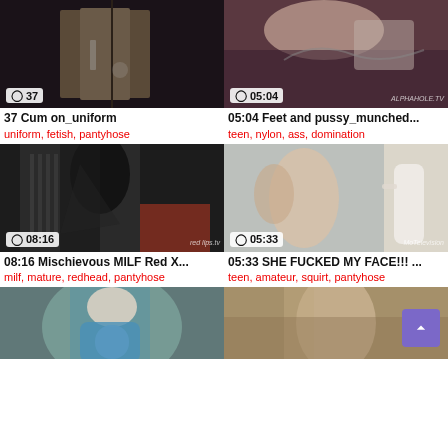[Figure (photo): Video thumbnail 1 - uniform/fetish clip with duration badge 37 seconds]
37 Cum on_uniform
uniform, fetish, pantyhose
[Figure (photo): Video thumbnail 2 - teen/nylon clip with duration badge 05:04]
05:04 Feet and pussy_munched...
teen, nylon, ass, domination
[Figure (photo): Video thumbnail 3 - milf/mature clip with duration badge 08:16]
08:16 Mischievous MILF Red X...
milf, mature, redhead, pantyhose
[Figure (photo): Video thumbnail 4 - teen/amateur clip with duration badge 05:33]
05:33 SHE FUCKED MY FACE!!! ...
teen, amateur, squirt, pantyhose
[Figure (photo): Video thumbnail 5 - partially visible, bottom left]
[Figure (photo): Video thumbnail 6 - partially visible, bottom right]